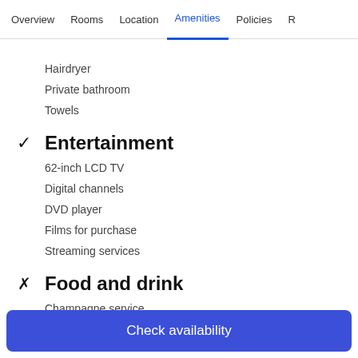Overview | Rooms | Location | Amenities (active) | Policies | R...
Hairdryer
Private bathroom
Towels
✓ Entertainment
62-inch LCD TV
Digital channels
DVD player
Films for purchase
Streaming services
✗ Food and drink
Champagne service
Coffee/tea maker
Check availability